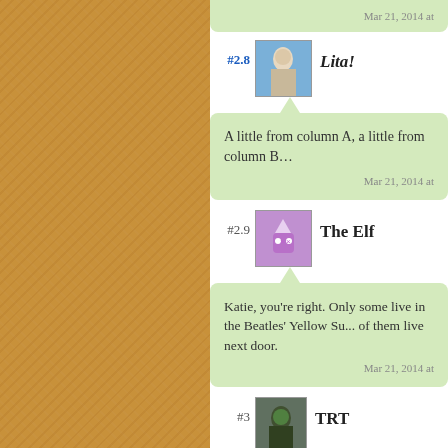Mar 21, 2014 at
#2.8 Lita!
A little from column A, a little from column B…
Mar 21, 2014 at
#2.9 The Elf
Katie, you're right. Only some live in the Beatles' Yellow Su... of them live next door.
Mar 21, 2014 at
#3 TRT